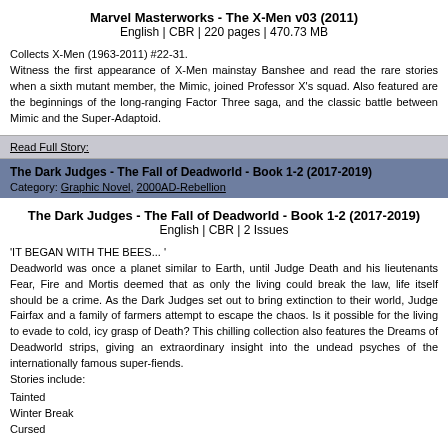Marvel Masterworks - The X-Men v03 (2011)
English | CBR | 220 pages | 470.73 MB
Collects X-Men (1963-2011) #22-31.
Witness the first appearance of X-Men mainstay Banshee and read the rare stories when a sixth mutant member, the Mimic, joined Professor X's squad. Also featured are the beginnings of the long-ranging Factor Three saga, and the classic battle between Mimic and the Super-Adaptoid.
Read Full Story:
The Dark Judges - The Fall of Deadworld - Book 1-2 (2017-2019)
Category: Graphic Novel, 2000AD-Rebellion
The Dark Judges - The Fall of Deadworld - Book 1-2 (2017-2019)
English | CBR | 2 Issues
'IT BEGAN WITH THE BEES... '
Deadworld was once a planet similar to Earth, until Judge Death and his lieutenants Fear, Fire and Mortis deemed that as only the living could break the law, life itself should be a crime. As the Dark Judges set out to bring extinction to their world, Judge Fairfax and a family of farmers attempt to escape the chaos. Is it possible for the living to evade to cold, icy grasp of Death? This chilling collection also features the Dreams of Deadworld strips, giving an extraordinary insight into the undead psyches of the internationally famous super-fiends.
Stories include:
Tainted
Winter Break
Cursed